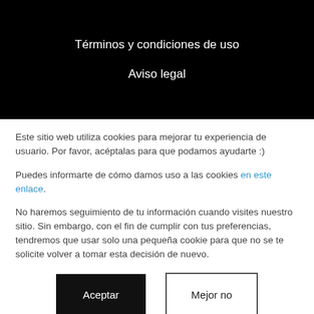Términos y condiciones de uso
Aviso legal
Este sitio web utiliza cookies para mejorar tu experiencia de usuario. Por favor, acéptalas para que podamos ayudarte :)
Puedes informarte de cómo damos uso a las cookies en este enlace.
No haremos seguimiento de tu información cuando visites nuestro sitio. Sin embargo, con el fin de cumplir con tus preferencias, tendremos que usar solo una pequeña cookie para que no se te solicite volver a tomar esta decisión de nuevo.
Aceptar
Mejor no